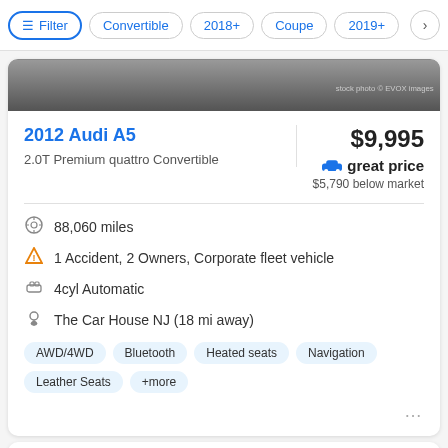Filter | Convertible | 2018+ | Coupe | 2019+ >
[Figure (photo): Dark gradient car listing header image with 'stock photo © EVOX images' watermark]
2012 Audi A5
2.0T Premium quattro Convertible
$9,995
great price
$5,790 below market
88,060 miles
1 Accident, 2 Owners, Corporate fleet vehicle
4cyl Automatic
The Car House NJ (18 mi away)
AWD/4WD  Bluetooth  Heated seats  Navigation  Leather Seats  +more